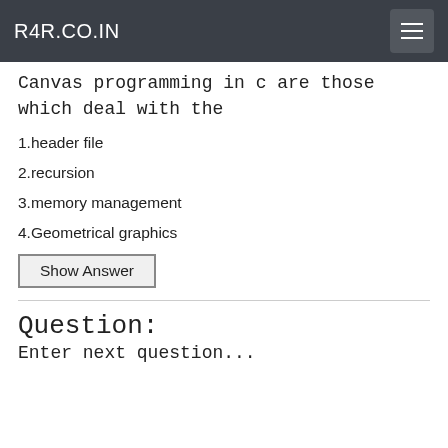R4R.CO.IN
Canvas programming in c are those which deal with the
1.header file
2.recursion
3.memory management
4.Geometrical graphics
Show Answer
Question:
Enter next question...